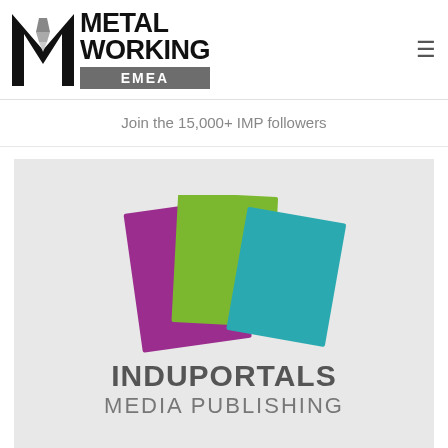[Figure (logo): Metal Working EMEA logo with stylized M drill bit icon and grey EMEA badge, plus hamburger menu icon]
Join the 15,000+ IMP followers
[Figure (logo): Induportals Media Publishing logo with three overlapping colored rectangles (purple, green, teal) and grey text INDUPORTALS MEDIA PUBLISHING on light grey background]